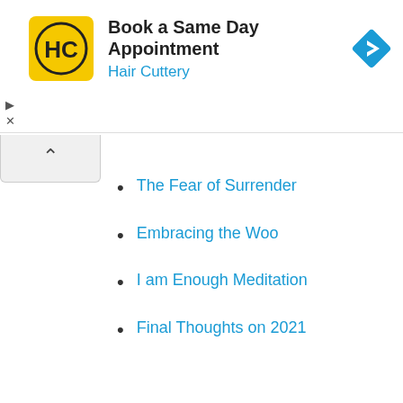[Figure (other): Hair Cuttery advertisement banner: yellow square logo with 'HC' text, bold title 'Book a Same Day Appointment', subtitle 'Hair Cuttery' in blue, and a blue diamond navigation icon on the right.]
The Fear of Surrender
Embracing the Woo
I am Enough Meditation
Final Thoughts on 2021